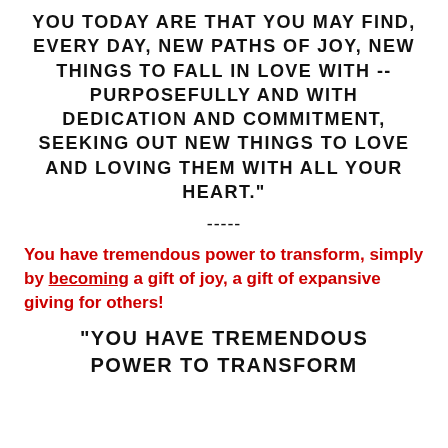YOU TODAY ARE THAT YOU MAY FIND, EVERY DAY, NEW PATHS OF JOY, NEW THINGS TO FALL IN LOVE WITH -- PURPOSEFULLY AND WITH DEDICATION AND COMMITMENT, SEEKING OUT NEW THINGS TO LOVE AND LOVING THEM WITH ALL YOUR HEART."
-----
You have tremendous power to transform, simply by becoming a gift of joy, a gift of expansive giving for others!
"YOU HAVE TREMENDOUS POWER TO TRANSFORM